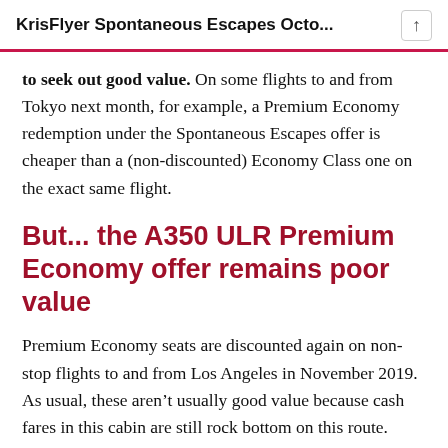KrisFlyer Spontaneous Escapes Octo...
to seek out good value. On some flights to and from Tokyo next month, for example, a Premium Economy redemption under the Spontaneous Escapes offer is cheaper than a (non-discounted) Economy Class one on the exact same flight.
But... the A350 ULR Premium Economy offer remains poor value
Premium Economy seats are discounted again on non-stop flights to and from Los Angeles in November 2019. As usual, these aren’t usually good value because cash fares in this cabin are still rock bottom on this route.